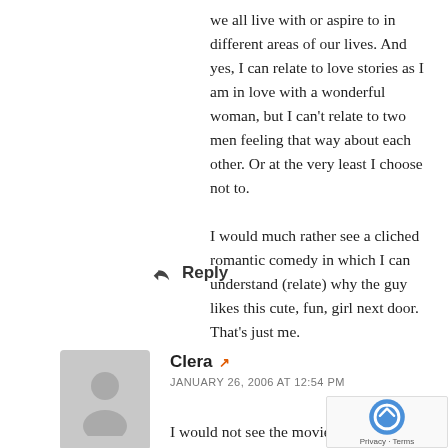we all live with or aspire to in different areas of our lives. And yes, I can relate to love stories as I am in love with a wonderful woman, but I can't relate to two men feeling that way about each other. Or at the very least I choose not to.

I would much rather see a cliched romantic comedy in which I can understand (relate) why the guy likes this cute, fun, girl next door. That's just me.
↩ Reply
Clera
JANUARY 26, 2006 AT 12:54 PM
I would not see the movie because #! of my views of homosexuality...and very selfishly...